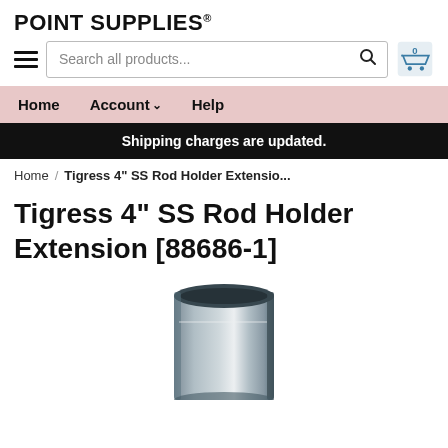POINT SUPPLIES®
Search all products...
Home  Account  Help
Shipping charges are updated.
Home / Tigress 4" SS Rod Holder Extensio...
Tigress 4" SS Rod Holder Extension [88686-1]
[Figure (photo): Photo of a stainless steel rod holder extension cylindrical tube, partially visible at the bottom of the page.]